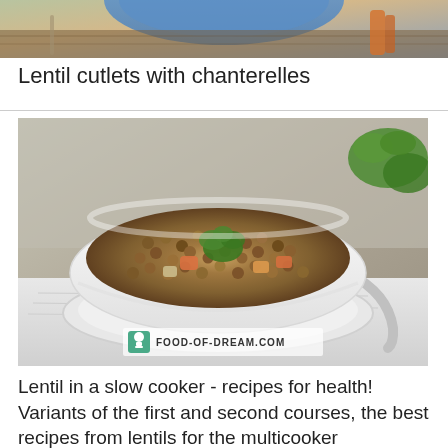[Figure (photo): Partial top photo showing food dish with blue plate and carrots, cropped at top of page]
Lentil cutlets with chanterelles
[Figure (photo): Bowl of lentil soup/stew with vegetables and parsley garnish, white bowl on white cloth, spoon visible, FOOD-OF-DREAM.COM watermark]
Lentil in a slow cooker - recipes for health! Variants of the first and second courses, the best recipes from lentils for the multicooker